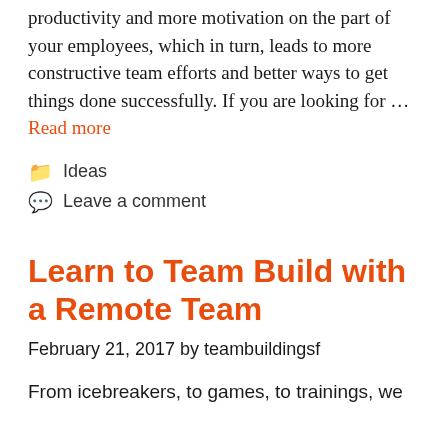productivity and more motivation on the part of your employees, which in turn, leads to more constructive team efforts and better ways to get things done successfully. If you are looking for … Read more
Ideas
Leave a comment
Learn to Team Build with a Remote Team
February 21, 2017 by teambuildingsf
From icebreakers, to games, to trainings, we